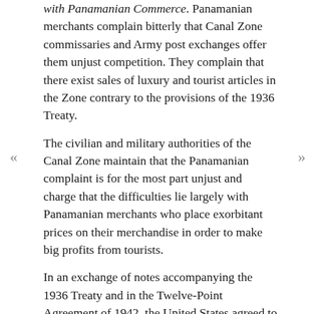with Panamanian Commerce. Panamanian merchants complain bitterly that Canal Zone commissaries and Army post exchanges offer them unjust competition. They complain that there exist sales of luxury and tourist articles in the Zone contrary to the provisions of the 1936 Treaty.
The civilian and military authorities of the Canal Zone maintain that the Panamanian complaint is for the most part unjust and charge that the difficulties lie largely with Panamanian merchants who place exorbitant prices on their merchandise in order to make big profits from tourists.
In an exchange of notes accompanying the 1936 Treaty and in the Twelve-Point Agreement of 1942, the United States agreed to afford regular and continued opportunity “for mutual conference and helpful exchange of views bearing on this question”. Panamanian authorities have not taken advantage of our agreement to enter into a thorough study of the situation. Panama’s standard of living is definitely improved through the presence of Canal Zone stores. During the war Panamanians depended greatly on the Canal Zone for food supplies.